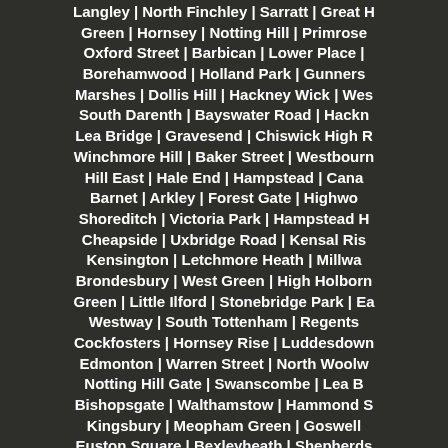Langley | North Finchley | Sarratt | Great Green | Hornsey | Notting Hill | Primrose Oxford Street | Barbican | Lower Place | Borehamwood | Holland Park | Gunners Marshes | Dollis Hill | Hackney Wick | Wes South Darenth | Bayswater Road | Hackn Lea Bridge | Gravesend | Chiswick High R Winchmore Hill | Baker Street | Westbourn Hill East | Hale End | Hampstead | Cana Barnet | Arkley | Forest Gate | Highwo Shoreditch | Victoria Park | Hampstead H Cheapside | Uxbridge Road | Kensal Ris Kensington | Letchmore Heath | Millwa Brondesbury | West Green | High Holborn Green | Little Ilford | Stonebridge Park | Ea Westway | South Tottenham | Regents Cockfosters | Hornsey Rise | Luddesdown Edmonton | Warren Street | North Woolw Notting Hill Gate | Swanscombe | Lea B Bishopsgate | Walthamstow | Hammond S Kingsbury | Meopham Green | Goswell Euston Square | Bexleyheath | Shepherds Crayford | King's Cross | Watford | Snaresb Forest | Chingford Green | Old Oak Comme | Chiswick House